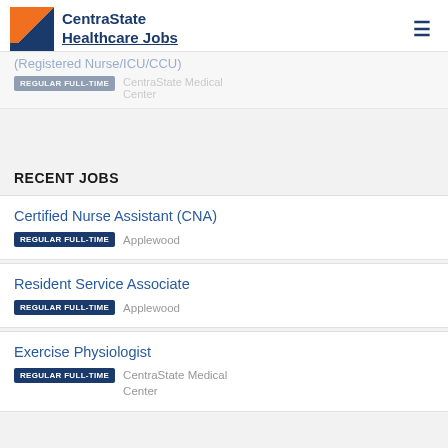CentraState Healthcare Jobs
Certified Nurse Assistant (CNA) | REGULAR FULL-TIME | Applewood
Resident Service Associate | REGULAR FULL-TIME | Applewood
Exercise Physiologist | REGULAR FULL-TIME | CentraState Medical Center
RECENT JOBS